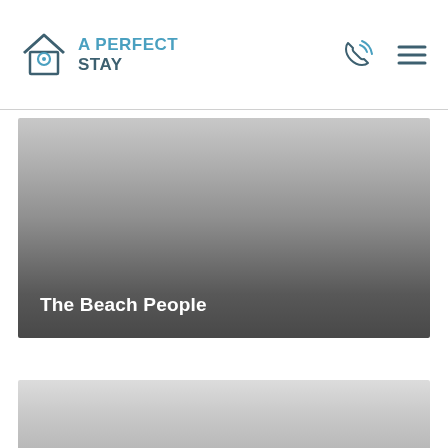A Perfect Stay
[Figure (photo): Hero banner image with gradient overlay showing 'The Beach People' title text in white at bottom left]
[Figure (photo): Partially visible second card/image at the bottom of the page with light gray gradient]